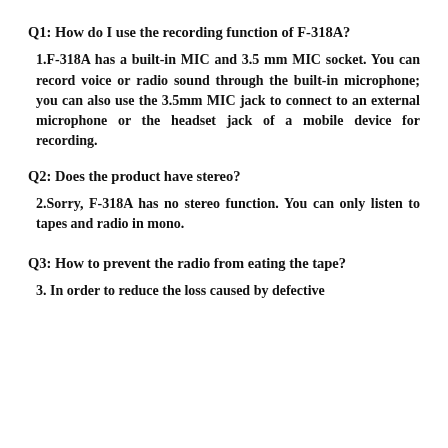Q1: How do I use the recording function of F-318A?
1.F-318A has a built-in MIC and 3.5 mm MIC socket. You can record voice or radio sound through the built-in microphone; you can also use the 3.5mm MIC jack to connect to an external microphone or the headset jack of a mobile device for recording.
Q2: Does the product have stereo?
2.Sorry, F-318A has no stereo function. You can only listen to tapes and radio in mono.
Q3: How to prevent the radio from eating the tape?
3. In order to reduce the loss caused by defective